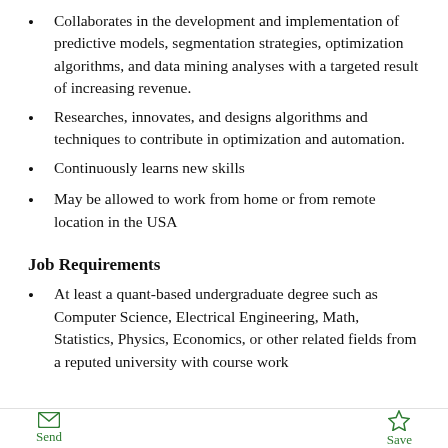Collaborates in the development and implementation of predictive models, segmentation strategies, optimization algorithms, and data mining analyses with a targeted result of increasing revenue.
Researches, innovates, and designs algorithms and techniques to contribute in optimization and automation.
Continuously learns new skills
May be allowed to work from home or from remote location in the USA
Job Requirements
At least a quant-based undergraduate degree such as Computer Science, Electrical Engineering, Math, Statistics, Physics, Economics, or other related fields from a reputed university with course work
Send   Save